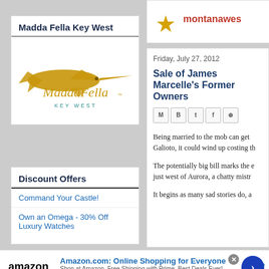Madda Fella Key West
[Figure (logo): Madda Fella Key West stylized fish and script logo in gold/tan colors]
Discount Offers
Command Your Castle!
Own an Omega - 30% Off Luxury Watches
infolinks
montanawes
Friday, July 27, 2012
Sale of James Marcelle's Former Owners
Being married to the mob can get Galioto, it could wind up costing th
The potentially big bill marks the e just west of Aurora, a chatty mistr
It begins as many sad stories do, a
[Figure (infographic): Amazon advertisement - Amazon.com: Online Shopping for Everyone. Shop at Amazon. Free Shipping with Prime. Best Deals Ever! amazon.com with blue arrow button]